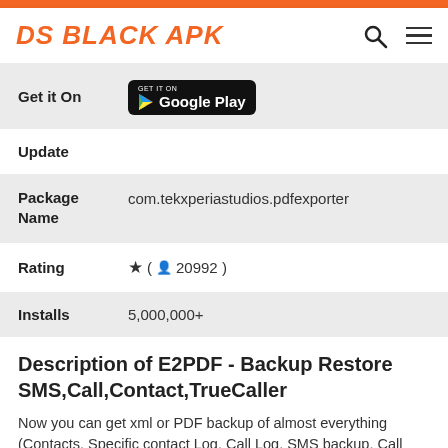DS BLACK APK
| Field | Value |
| --- | --- |
| Get it On | Google Play |
| Update |  |
| Package Name | com.tekxperiastudios.pdfexporter |
| Rating | ★ ( 👤 20992 ) |
| Installs | 5,000,000+ |
Description of E2PDF - Backup Restore SMS,Call,Contact,TrueCaller
Now you can get xml or PDF backup of almost everything (Contacts, Specific contact Log, Call Log, SMS backup, Call Log Statistics, SMS Statistics, truecaller ) and you can instantly save these backup in